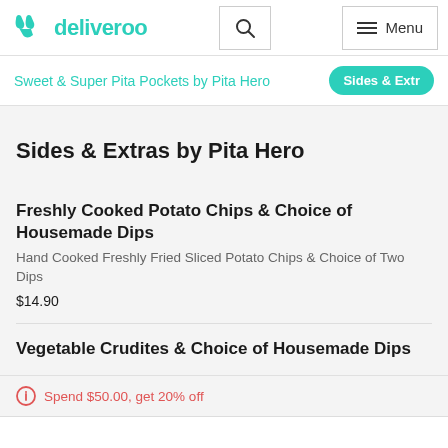deliveroo
Sweet & Super Pita Pockets by Pita Hero | Sides & Extras
Sides & Extras by Pita Hero
Freshly Cooked Potato Chips & Choice of Housemade Dips
Hand Cooked Freshly Fried Sliced Potato Chips & Choice of Two Dips
$14.90
Vegetable Crudites & Choice of Housemade Dips
Spend $50.00, get 20% off